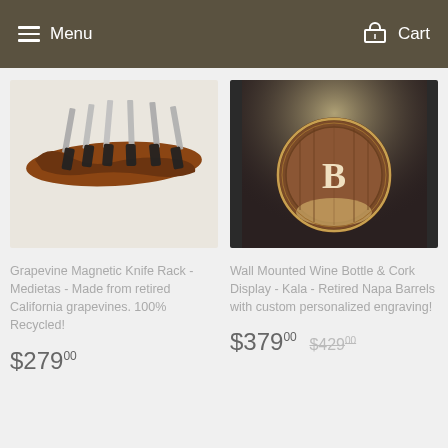Menu   Cart
[Figure (photo): Grapevine magnetic knife rack holding several knives against a light background]
Grapevine Magnetic Knife Rack - Medietas - Made from retired California grapevines. 100% Recycled!
$279 00
[Figure (photo): Wall mounted wine bottle and cork display frame with personalized barrel letter B engraving, lit dramatically]
Wall Mounted Wine Bottle & Cork Display - Kala - Retired Napa Barrels with custom personalized engraving!
$379 00  $429 00